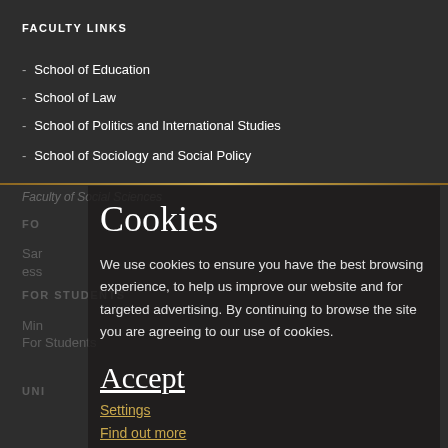FACULTY LINKS
School of Education
School of Law
School of Politics and International Studies
School of Sociology and Social Policy
Faculty of Social Sciences
Cookies
We use cookies to ensure you have the best browsing experience, to help us improve our website and for targeted advertising. By continuing to browse the site you are agreeing to our use of cookies.
Accept
Settings
Find out more